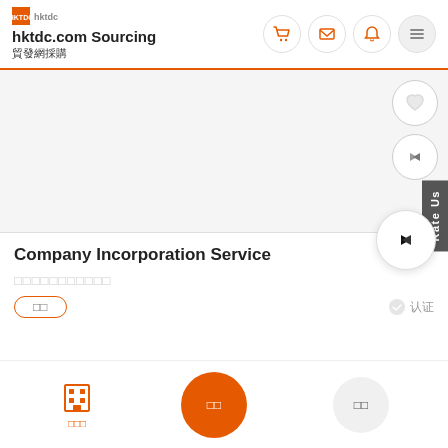hktdc.com Sourcing 貿發網採購
[Figure (screenshot): HKTDC hktdc.com Sourcing mobile app interface showing a product listing for Company Incorporation Service with navigation icons, floating action buttons, Rate Us tab, and bottom navigation bar with Chinese text labels]
Company Incorporation Service
□□□□□□□□□□□
□□  认证